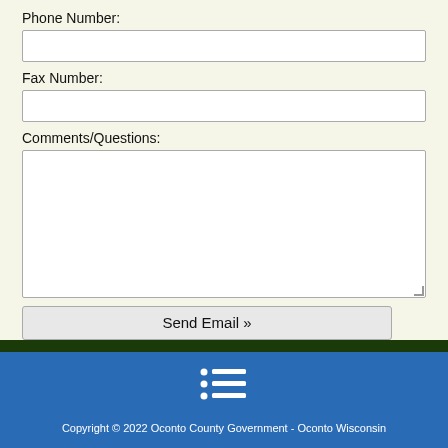Phone Number:
Fax Number:
Comments/Questions:
Send Email »
[Figure (other): Menu/list icon with three rows, each consisting of a dot and a horizontal line, displayed in white on blue background]
Copyright © 2022 Oconto County Government - Oconto Wisconsin